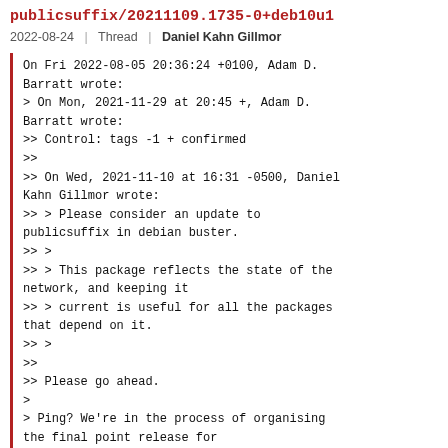publicsuffix/20211109.1735-0+deb10u1
2022-08-24 | Thread | Daniel Kahn Gillmor
On Fri 2022-08-05 20:36:24 +0100, Adam D. Barratt wrote:
> On Mon, 2021-11-29 at 20:45 +, Adam D. Barratt wrote:
>> Control: tags -1 + confirmed
>>
>> On Wed, 2021-11-10 at 16:31 -0500, Daniel Kahn Gillmor wrote:
>> > Please consider an update to publicsuffix in debian buster.
>> >
>> > This package reflects the state of the network, and keeping it
>> > current is useful for all the packages that depend on it.
>> >
>>
>> Please go ahead.
>
> Ping? We're in the process of organising the final point release for